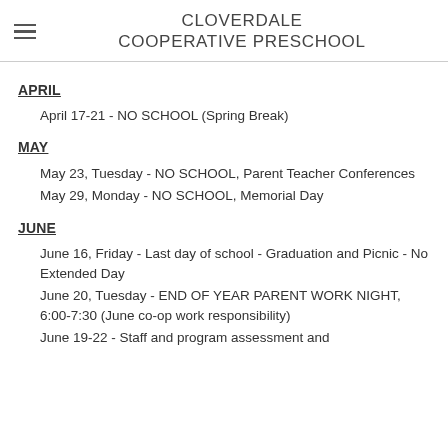CLOVERDALE COOPERATIVE PRESCHOOL
APRIL
April 17-21 - NO SCHOOL (Spring Break)
MAY
May 23, Tuesday - NO SCHOOL, Parent Teacher Conferences
May 29, Monday - NO SCHOOL, Memorial Day
JUNE
June 16, Friday - Last day of school - Graduation and Picnic - No Extended Day
June 20, Tuesday - END OF YEAR PARENT WORK NIGHT, 6:00-7:30 (June co-op work responsibility)
June 19-22 - Staff and program assessment and